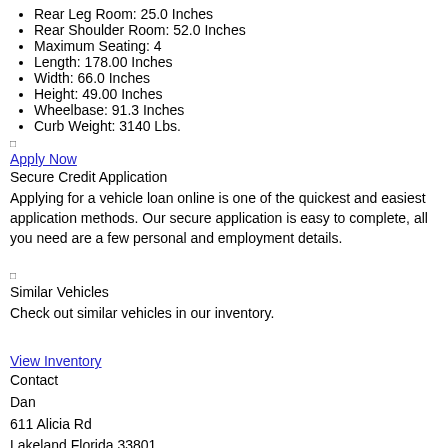Rear Leg Room: 25.0 Inches
Rear Shoulder Room: 52.0 Inches
Maximum Seating: 4
Length: 178.00 Inches
Width: 66.0 Inches
Height: 49.00 Inches
Wheelbase: 91.3 Inches
Curb Weight: 3140 Lbs.
□
Apply Now
Secure Credit Application
Applying for a vehicle loan online is one of the quickest and easiest application methods. Our secure application is easy to complete, all you need are a few personal and employment details.
□
Similar Vehicles
Check out similar vehicles in our inventory.
View Inventory
Contact
Dan
611 Alicia Rd
Lakeland Florida 33801
View Map